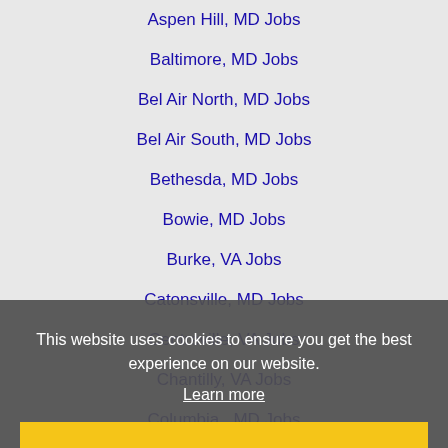Aspen Hill, MD Jobs
Baltimore, MD Jobs
Bel Air North, MD Jobs
Bel Air South, MD Jobs
Bethesda, MD Jobs
Bowie, MD Jobs
Burke, VA Jobs
Catonsville, MD Jobs
Centreville, VA Jobs
Chantilly, VA Jobs
Columbia , MD Jobs
Clarksburg, MD Jobs
Gaithersburg, MD Jobs
Ellicott City, MD Jobs
Fairfax, VA Jobs
Frederick, MD Jobs
Germantown, MD Jobs
Herndon, PA Jobs
This website uses cookies to ensure you get the best experience on our website.
Learn more
Got it!